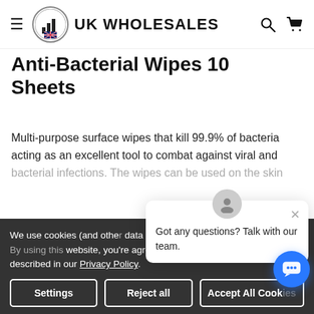UK WHOLESALES
Anti-Bacterial Wipes 10 Sheets
Multi-purpose surface wipes that kill 99.9% of bacteria acting as an excellent tool to combat against viral and bacterial infections. The wipes can be used on the skin
VIEW ALL
44 REVIEWS
We use cookies (and other data to improve your shopping experience. By using this website, you're agreeing to the collection of data as described in our Privacy Policy.
Got any questions? Talk with our team.
[Figure (screenshot): Cookie consent popup with Settings, Reject all, and Accept All Cookies buttons]